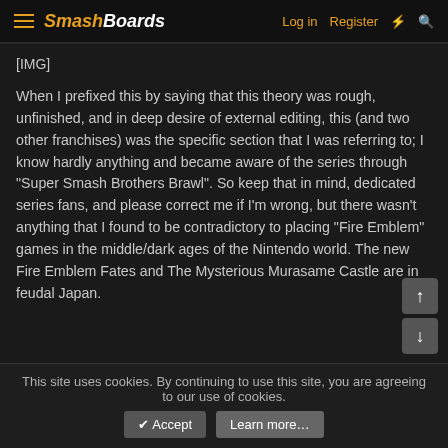SmashBoards — Log in | Register
[IMG]
When I prefixed this by saying that this theory was rough, unfinished, and in deep desire of external editing, this (and two other franchises) was the specific section that I was referring to; I know hardly anything and became aware of the series through "Super Smash Brothers Brawl". So keep that in mind, dedicated series fans, and please correct me if I'm wrong, but there wasn't anything that I found to be contradictory to placing "Fire Emblem" games in the middle/dark ages of the Nintendo world. The new Fire Emblem Fates and The Mysterious Murasame Castle are in feudal Japan.
This site uses cookies. By continuing to use this site, you are agreeing to our use of cookies. Accept | Learn more...